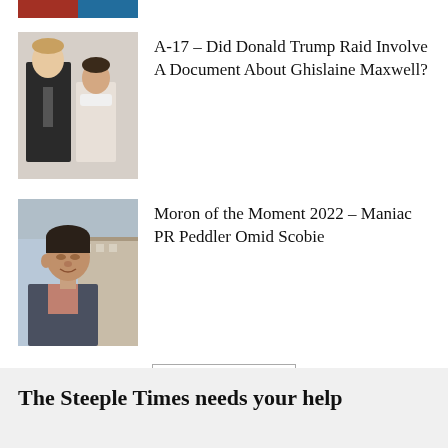[Figure (photo): Partial top image strip showing two people, partially cropped at top of page]
[Figure (photo): Black and white photo of Donald Trump and Ghislaine Maxwell standing together]
A-17 – Did Donald Trump Raid Involve A Document About Ghislaine Maxwell?
[Figure (photo): Photo of Omid Scobie, a young man with dark hair, speaking outdoors in front of a building]
Moron of the Moment 2022 – Maniac PR Peddler Omid Scobie
Load more
The Steeple Times needs your help